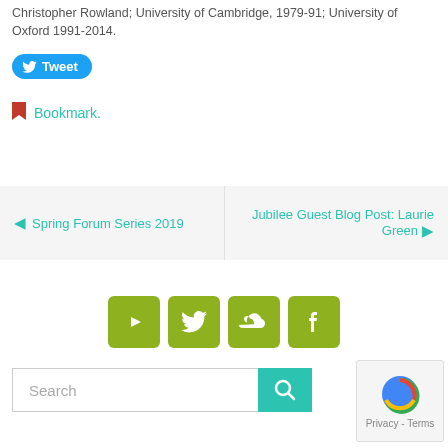Christopher Rowland; University of Cambridge, 1979-91; University of Oxford 1991-2014.
[Figure (other): Blue Twitter Tweet button with bird icon]
🔖 Bookmark.
[Figure (other): Navigation box with two links: left arrow Spring Forum Series 2019, right arrow Jubilee Guest Blog Post: Laurie Green]
[Figure (other): Social media icon buttons: YouTube, Twitter, SoundCloud, Facebook (olive green square buttons)]
[Figure (other): Search input box with teal search button and reCAPTCHA widget]